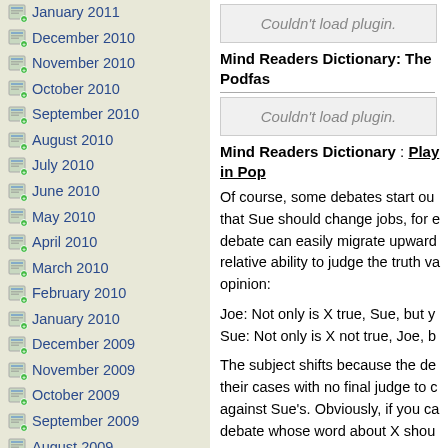January 2011
December 2010
November 2010
October 2010
September 2010
August 2010
July 2010
June 2010
May 2010
April 2010
March 2010
February 2010
January 2010
December 2009
November 2009
October 2009
September 2009
August 2009
July 2009
June 2009
May 2009
[Figure (screenshot): Plugin load error box: Couldn't load plugin.]
Mind Readers Dictionary: The Podfas...
[Figure (screenshot): Plugin load error box: Couldn't load plugin.]
Mind Readers Dictionary : Play in Pop...
Of course, some debates start out... that Sue should change jobs, for e... debate can easily migrate upward... relative ability to judge the truth va... opinion:
Joe: Not only is X true, Sue, but y... Sue: Not only is X not true, Joe, b...
The subject shifts because the de... their cases with no final judge to c... against Sue's. Obviously, if you ca... debate whose word about X shou...